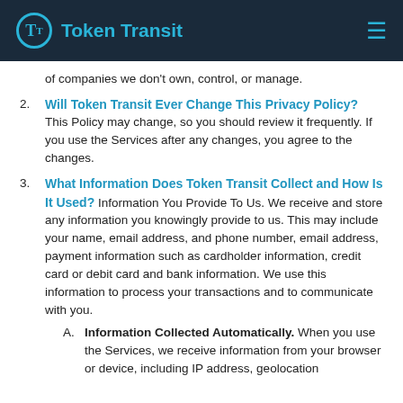Token Transit
of companies we don’t own, control, or manage.
Will Token Transit Ever Change This Privacy Policy? This Policy may change, so you should review it frequently. If you use the Services after any changes, you agree to the changes.
What Information Does Token Transit Collect and How Is It Used? Information You Provide To Us. We receive and store any information you knowingly provide to us. This may include your name, email address, and phone number, email address, payment information such as cardholder information, credit card or debit card and bank information. We use this information to process your transactions and to communicate with you.
Information Collected Automatically. When you use the Services, we receive information from your browser or device, including IP address, geolocation